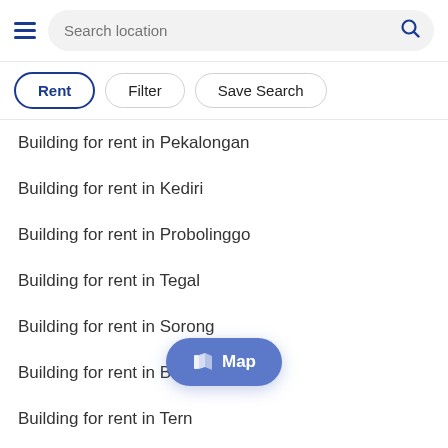Search location
Rent
Filter
Save Search
Building for rent in Pekalongan
Building for rent in Kediri
Building for rent in Probolinggo
Building for rent in Tegal
Building for rent in Sorong
Building for rent in Binjai
Building for rent in Ternate
Building for rent in Palangka Raya
Building for rent in Banda Aceh